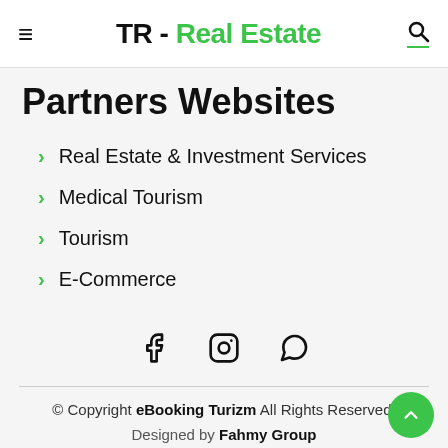TR - Real Estate
Partners Websites
Real Estate & Investment Services
Medical Tourism
Tourism
E-Commerce
[Figure (infographic): Social media icons: Facebook, Instagram, WhatsApp]
© Copyright eBooking Turizm All Rights Reserved. Designed by Fahmy Group